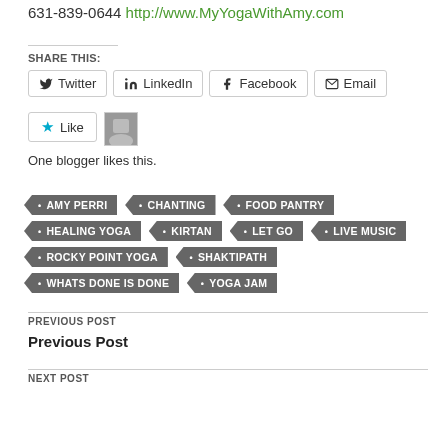631-839-0644 http://www.MyYogaWithAmy.com
SHARE THIS:
Twitter  LinkedIn  Facebook  Email
Like  One blogger likes this.
AMY PERRI
CHANTING
FOOD PANTRY
HEALING YOGA
KIRTAN
LET GO
LIVE MUSIC
ROCKY POINT YOGA
SHAKTIPATH
WHATS DONE IS DONE
YOGA JAM
PREVIOUS POST
Previous Post
NEXT POST